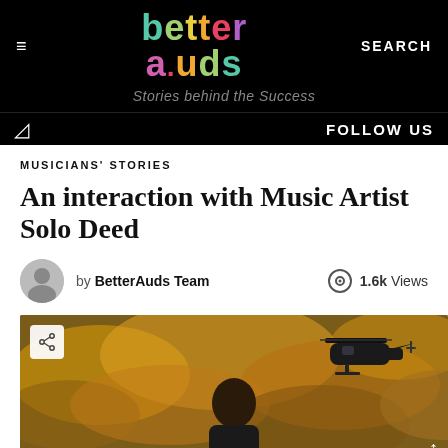better auds — Stories behind the Success
MUSICIANS' STORIES
An interaction with Music Artist Solo Deed
by BetterAuds Team
1.6k Views
[Figure (photo): Article hero image showing a person from the shoulders up against a dramatic golden cloudy sky with a military helicopter in the background. A share icon button is visible in the top-left corner and an up-arrow in the bottom-right.]